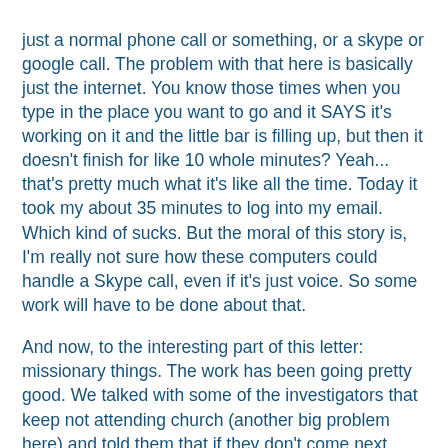just a normal phone call or something, or a skype or google call. The problem with that here is basically just the internet. You know those times when you type in the place you want to go and it SAYS it's working on it and the little bar is filling up, but then it doesn't finish for like 10 whole minutes? Yeah... that's pretty much what it's like all the time. Today it took my about 35 minutes to log into my email. Which kind of sucks. But the moral of this story is, I'm really not sure how these computers could handle a Skype call, even if it's just voice. So some work will have to be done about that.
And now, to the interesting part of this letter: missionary things. The work has been going pretty good. We talked with some of the investigators that keep not attending church (another big problem here) and told them that if they don't come next week, we'll have to stop teaching them. If they won't progress, we have to go find people that will. Sad but true. Hopefully they'll actually follow through on their part.
On another fun note, Elder Landon and I went on splits yesterday. He went with a member named Tojo, and I got to go with our branch president. Who is Malagasy. Oh goodie. It turns out he actually spoke a bit of English (about as much